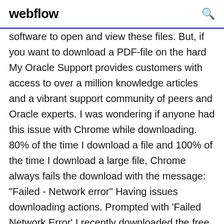webflow
software to open and view these files. But, if you want to download a PDF-file on the hard My Oracle Support provides customers with access to over a million knowledge articles and a vibrant support community of peers and Oracle experts. I was wondering if anyone had this issue with Chrome while downloading. 80% of the time I download a file and 100% of the time I download a large file, Chrome always fails the download with the message: "Failed - Network error" Having issues downloading actions. Prompted with 'Failed Network Error' I recently downloaded the free trial of Adobe Acrobat XI Pro. I want to download some tools, specifically: 'Create Bookmark Report' and 'Find